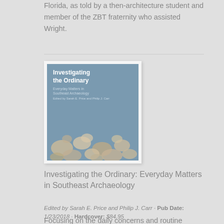Florida, as told by a then-architecture student and member of the ZBT fraternity who assisted Wright.
[Figure (illustration): Book cover of 'Investigating the Ordinary: Everyday Matters in Southeast Archaeology', edited by Sarah E. Price and Philip J. Carr. Cover shows a blue-gray background with scattered stone/lithic artifacts at the bottom.]
Investigating the Ordinary: Everyday Matters in Southeast Archaeology
Edited by Sarah E. Price and Philip J. Carr · Pub Date: 1/23/2018 · Hardcover: $84.95
Focusing on the daily concerns and routine